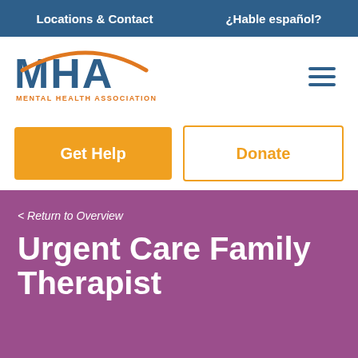Locations & Contact   ¿Hable español?
[Figure (logo): MHA Mental Health Association logo with orange arc above letters]
Get Help
Donate
< Return to Overview
Urgent Care Family Therapist